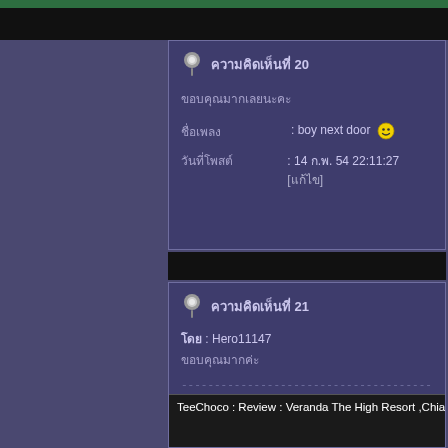ความคิดเห็นที่ 20
ขอบคุณมากเลยนะคะ
ชื่อเพลง : boy next door 😊
วันที่โพสต์ : 14 ก.พ. 54 22:11:27 [แก้ไข]
ความคิดเห็นที่ 21
โดย : Hero11147
ขอบคุณมากค่ะ
--------------------------------------------------------------------------------
ขอบคุณมากเลยนะคะที่รีวิว ชอบมากเลยค่ะ ขอบคุณมากๆ
[Figure (screenshot): TeeChoco : Review : Veranda The High Resort ,Chiangma]